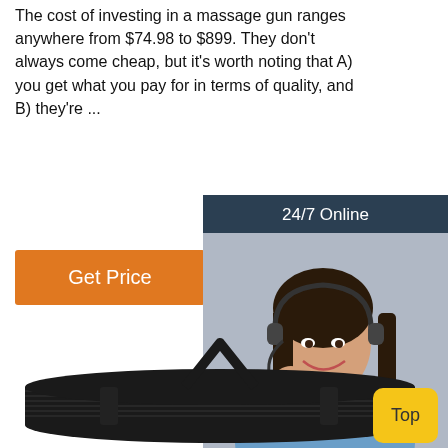The cost of investing in a massage gun ranges anywhere from $74.98 to $899. They don't always come cheap, but it's worth noting that A) you get what you pay for in terms of quality, and B) they're ...
[Figure (other): Orange 'Get Price' button]
[Figure (other): 24/7 Online chat widget with female customer service agent wearing headset, 'Click here for free chat!' text, and orange QUOTATION button]
[Figure (photo): Rolled black yoga/exercise mat with carrying straps, viewed from side angle]
[Figure (other): Yellow 'Top' navigation button]